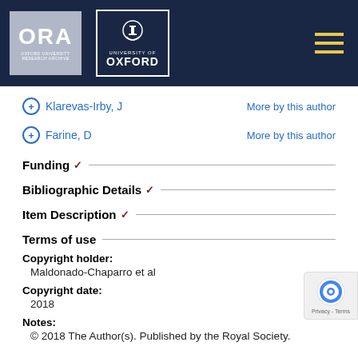[Figure (logo): Oxford University Research Archive (ORA) header with ORA logo and University of Oxford crest logo on dark navy background, with hamburger menu icon in gold]
+ Klarevas-Irby, J    More by this author
+ Farine, D    More by this author
Funding ∨
Bibliographic Details ∨
Item Description ∨
Terms of use
Copyright holder:
Maldonado-Chaparro et al
Copyright date:
2018
Notes:
© 2018 The Author(s). Published by the Royal Society.